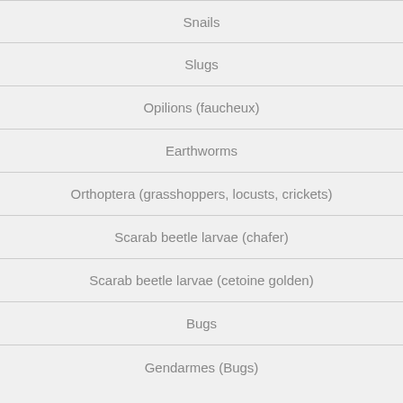Snails
Slugs
Opilions (faucheux)
Earthworms
Orthoptera (grasshoppers, locusts, crickets)
Scarab beetle larvae (chafer)
Scarab beetle larvae (cetoine golden)
Bugs
Gendarmes (Bugs)